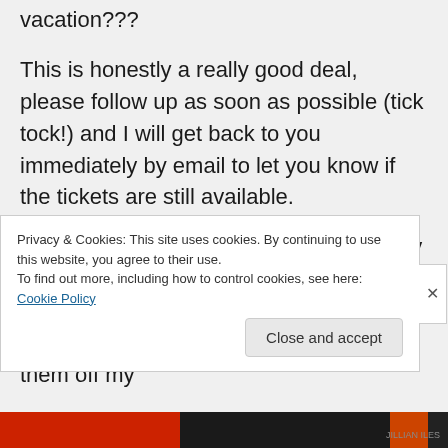vacation???
This is honestly a really good deal, please follow up as soon as possible (tick tock!) and I will get back to you immediately by email to let you know if the tickets are still available.
I bought these by mistake, I meant to buy them the other way around! So I bought other tickets, and now I have to sell these! I'm willing to face losses to get them off my
Privacy & Cookies: This site uses cookies. By continuing to use this website, you agree to their use.
To find out more, including how to control cookies, see here: Cookie Policy
Close and accept